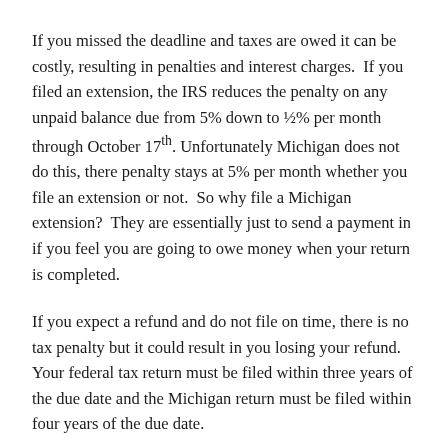If you missed the deadline and taxes are owed it can be costly, resulting in penalties and interest charges.  If you filed an extension, the IRS reduces the penalty on any unpaid balance due from 5% down to ½% per month through October 17th. Unfortunately Michigan does not do this, there penalty stays at 5% per month whether you file an extension or not.  So why file a Michigan extension?  They are essentially just to send a payment in if you feel you are going to owe money when your return is completed.
If you expect a refund and do not file on time, there is no tax penalty but it could result in you losing your refund.  Your federal tax return must be filed within three years of the due date and the Michigan return must be filed within four years of the due date.
Here are the main points to remember and to get more information on your personal taxes or business